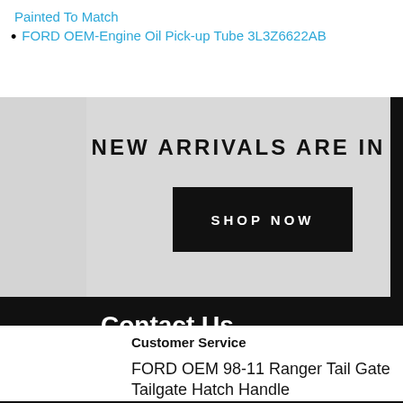Painted To Match
FORD OEM-Engine Oil Pick-up Tube 3L3Z6622AB
[Figure (infographic): Promotional banner with light gray background showing 'NEW ARRIVALS ARE IN' text in bold uppercase, a black 'SHOP NOW' button, and a black lower section with 'Contact Us' heading and 'Admin@csgosmurfkart.com' email address.]
Customer Service
FORD OEM 98-11 Ranger Tail Gate Tailgate Hatch Handle